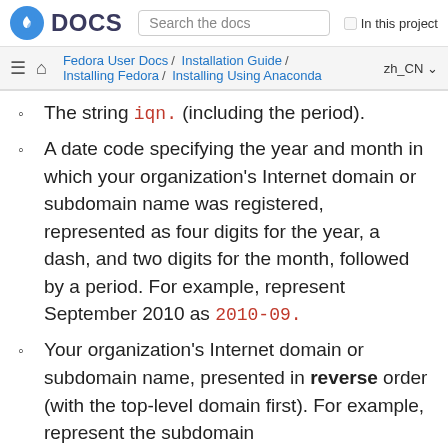Fedora DOCS — Search the docs | In this project
Fedora User Docs / Installation Guide / Installing Fedora / Installing Using Anaconda — zh_CN
The string iqn. (including the period).
A date code specifying the year and month in which your organization's Internet domain or subdomain name was registered, represented as four digits for the year, a dash, and two digits for the month, followed by a period. For example, represent September 2010 as 2010-09.
Your organization's Internet domain or subdomain name, presented in reverse order (with the top-level domain first). For example, represent the subdomain